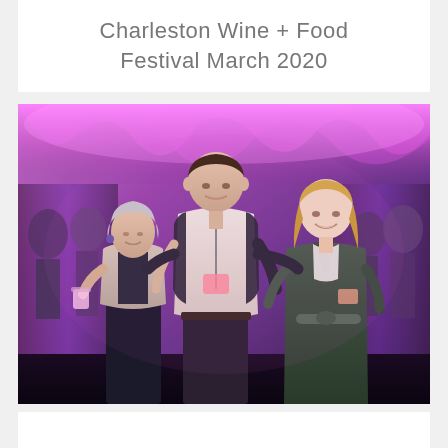Charleston Wine + Food Festival March 2020
[Figure (photo): Three people posing together at the Charleston Wine + Food Festival March 2020 event. They are standing under a purple/magenta draped tent ceiling. On the left is an older woman with short grey hair wearing a light cardigan and dark top holding a small cup. In the center is a tall young man in a white shirt and dark pants with a lanyard/badge. On the right is a young woman with blonde hair wearing a dark green velvet wrap dress with a badge.]